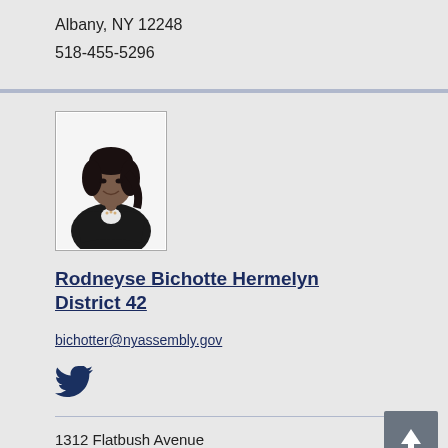Albany, NY 12248
518-455-5296
[Figure (photo): Portrait photo of Rodneyse Bichotte Hermelyn, a woman in a dark blazer with arms crossed, smiling against a white background]
Rodneyse Bichotte Hermelyn District 42
bichotter@nyassembly.gov
[Figure (logo): Twitter bird icon in dark navy/blue color]
1312 Flatbush Avenue
Brooklyn, NY 11210